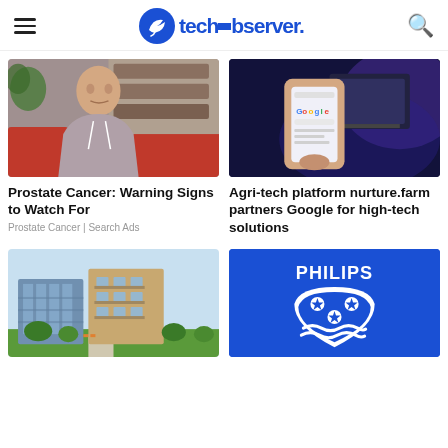techobserver.
[Figure (photo): Middle-aged bald man sitting on a red couch looking distressed, for a Prostate Cancer ad]
[Figure (photo): A hand holding a smartphone showing Google search, with a computer monitor in background]
Prostate Cancer: Warning Signs to Watch For
Prostate Cancer | Search Ads
Agri-tech platform nurture.farm partners Google for high-tech solutions
[Figure (photo): Modern apartment building complex with green landscaping]
[Figure (logo): Philips logo on blue background — white shield shape with stars and waves]